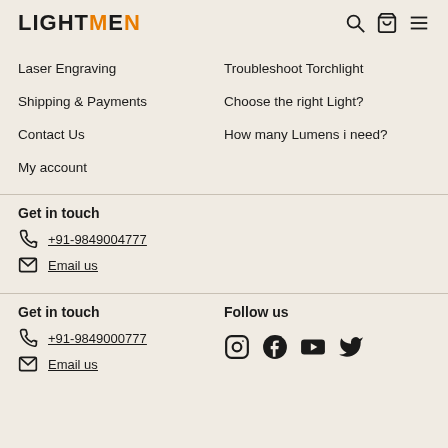LIGHTMEN
Laser Engraving
Troubleshoot Torchlight
Shipping & Payments
Choose the right Light?
Contact Us
How many Lumens i need?
My account
Get in touch
+91-9849004777
Email us
Get in touch
+91-9849000777
Email us
Follow us